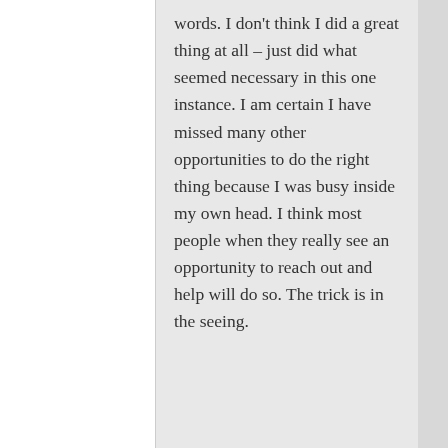words. I don't think I did a great thing at all – just did what seemed necessary in this one instance. I am certain I have missed many other opportunities to do the right thing because I was busy inside my own head. I think most people when they really see an opportunity to reach out and help will do so. The trick is in the seeing.
Advertisements
[Figure (illustration): DuckDuckGo advertisement banner: orange background with text 'Search, browse, and email with more privacy. All in One Free App' and a phone image showing the DuckDuckGo logo]